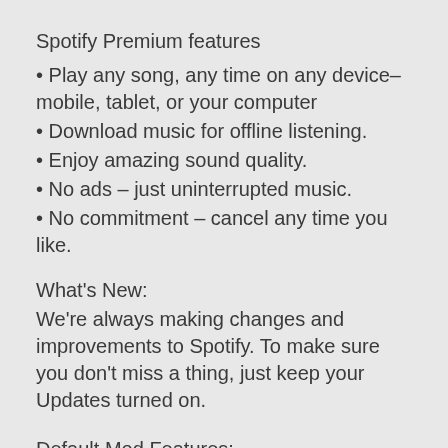Spotify Premium features
• Play any song, any time on any device–mobile, tablet, or your computer
• Download music for offline listening.
• Enjoy amazing sound quality.
• No ads – just uninterrupted music.
• No commitment – cancel any time you like.
What's New:
We're always making changes and improvements to Spotify. To make sure you don't miss a thing, just keep your Updates turned on.
Default Mod Features: